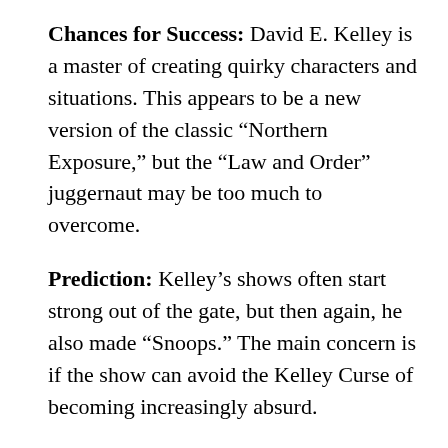Chances for Success: David E. Kelley is a master of creating quirky characters and situations. This appears to be a new version of the classic “Northern Exposure,” but the “Law and Order” juggernaut may be too much to overcome.
Prediction: Kelley’s shows often start strong out of the gate, but then again, he also made “Snoops.” The main concern is if the show can avoid the Kelley Curse of becoming increasingly absurd.